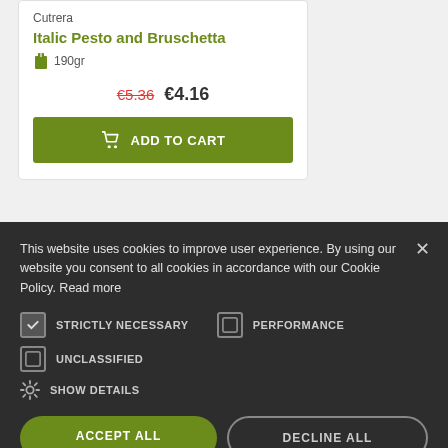Cutrera
Italic Pesto and Bruschetta
190gr
€5.36 €4.16
ADD TO CART
-€0.80
This website uses cookies to improve user experience. By using our website you consent to all cookies in accordance with our Cookie Policy. Read more
STRICTLY NECESSARY
PERFORMANCE
UNCLASSIFIED
SHOW DETAILS
ACCEPT ALL
DECLINE ALL